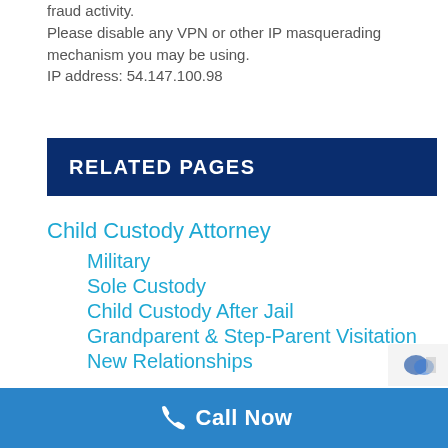fraud activity.
Please disable any VPN or other IP masquerading mechanism you may be using.
IP address: 54.147.100.98
RELATED PAGES
Child Custody Attorney
Military
Sole Custody
Child Custody After Jail
Grandparent & Step-Parent Visitation
New Relationships
Call Now